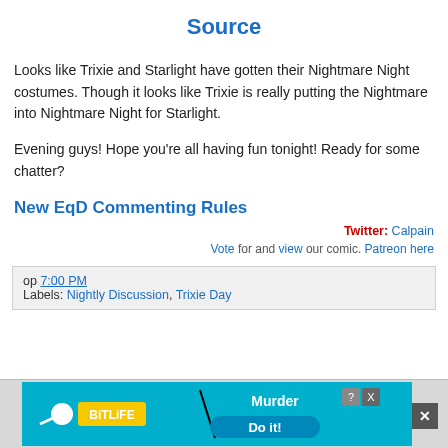Source
Looks like Trixie and Starlight have gotten their Nightmare Night costumes. Though it looks like Trixie is really putting the Nightmare into Nightmare Night for Starlight.
Evening guys! Hope you're all having fun tonight! Ready for some chatter?
New EqD Commenting Rules
Twitter: Calpain
Vote for and view our comic. Patreon here
op 7:00 PM
Labels: Nightly Discussion, Trixie Day
[Figure (other): BitLife advertisement banner with Murder theme and 'Do it!' button]